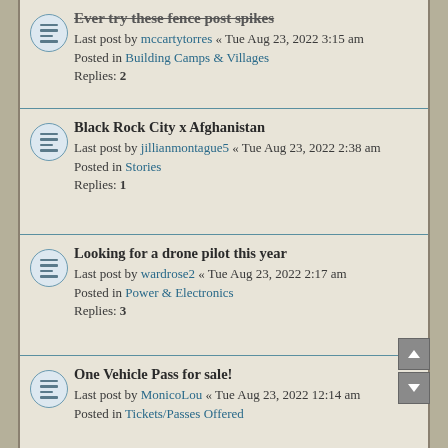Ever try these fence post spikes
Last post by mccartytorres « Tue Aug 23, 2022 3:15 am
Posted in Building Camps & Villages
Replies: 2
Black Rock City x Afghanistan
Last post by jillianmontague5 « Tue Aug 23, 2022 2:38 am
Posted in Stories
Replies: 1
Looking for a drone pilot this year
Last post by wardrose2 « Tue Aug 23, 2022 2:17 am
Posted in Power & Electronics
Replies: 3
One Vehicle Pass for sale!
Last post by MonicoLou « Tue Aug 23, 2022 12:14 am
Posted in Tickets/Passes Offered
Need an RV from LA (2022)?
Last post by aricjoshua1 « Tue Aug 23, 2022 12:04 am
Posted in Bikes & Transportation
Replies: 1